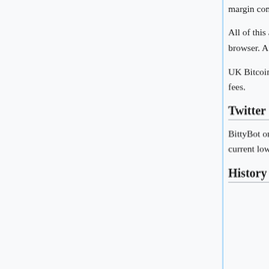margin compared to the current CoinDesk BPI price.
All of this aggregated information can be re-sorted, and searched directly from within the web browser. A complete list of all online sellers is available here and online buyers here.
UK Bitcoin Exchanges are listed on a separate page here along with 24hr volume information and fees.
Twitter
BittyBot on Twitter @Bitty_Bot tweets the most reputable seller (Rating is 95 or above) with the current lowest price who accepts UK Bank Transfer and who is willing to sell to new customers.
History